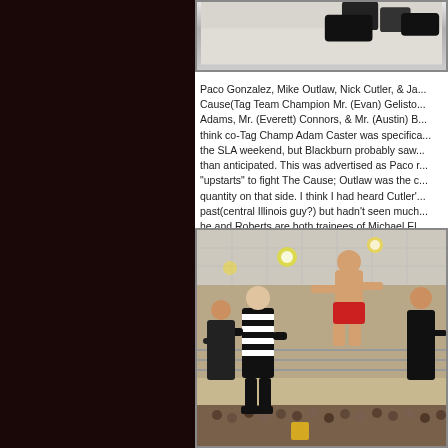[Figure (photo): Partial photo showing feet/shoes at the top of the page, cropped]
Paco Gonzalez, Mike Outlaw, Nick Cutler, & Ja... Cause(Tag Team Champion Mr. (Evan) Gelistic... Adams, Mr. (Everett) Connors, & Mr. (Austin) B... think co-Tag Champ Adam Caster was specifica... the SLA weekend, but Blackburn probably saw... than anticipated. This was advertised as Paco r... "upstarts" to fight The Cause; Outlaw was the c... quantity on that side. I think I had heard Cutler'... past(central Illinois guy?) but hadn't seen much... he and Roberts are both trainees of Michael El...
[Figure (photo): Wrestling match photo showing a referee in black and white striped shirt, a wrestler in red shorts jumping/airborne, and other wrestlers in a ring with audience seated in background]